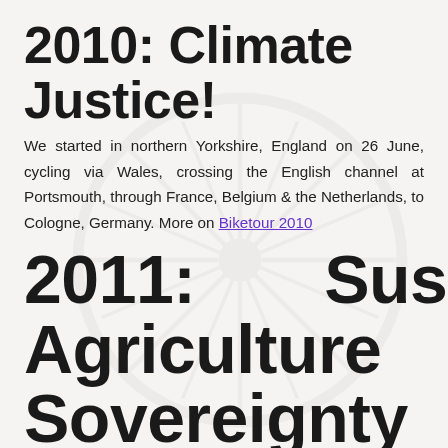2010: Climate Justice!
We started in northern Yorkshire, England on 26 June, cycling via Wales, crossing the English channel at Portsmouth, through France, Belgium & the Netherlands, to Cologne, Germany. More on Biketour 2010
2011: Sustainable Agriculture And Food Sovereignty
Italy, 26th July- 31th of August 2011 More on Biketour 2011
2012: Towards